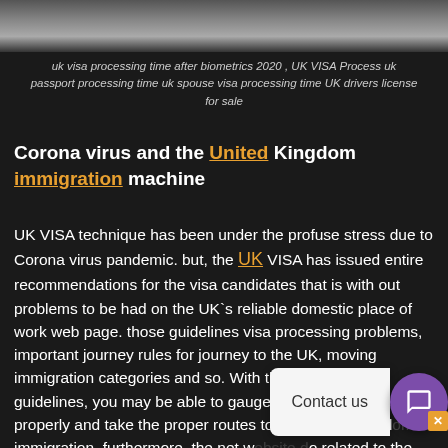[Figure (photo): Partial top image of UK visa/passport related imagery, cut off at top of page]
uk visa processing time after biometrics 2020 , UK VISA Process uk passport processing time uk spouse visa processing time UK drivers license for sale
Corona virus and the United Kingdom immigration machine
UK VISA technique has been under the profuse stress due to Corona virus pandemic. but, the UK VISA has issued entire recommendations for the visa candidates that is with out problems to be had on the UK`s reliable domestic place of work web page. those guidelines visa processing problems, important journey rules for journey to the UK, moving immigration categories and so. With the assist of those guidelines, you may be able to gauge the state of affairs properly and take the proper routes to the United Kingdom immigration. furthermore, the net w do related to the Covid-19 pandemic close to the immigration legal guidelines is up to date on day by day basis. UK VISA